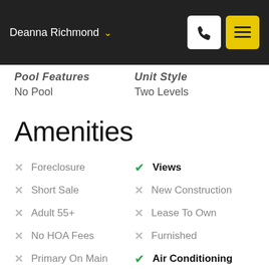Deanna Richmond
Pool Features
No Pool
Unit Style
Two Levels
Amenities
Foreclosure (unchecked)
Views (checked)
Short Sale (unchecked)
New Construction (unchecked)
Adult 55+ (unchecked)
Lease To Own (unchecked)
No HOA Fees (unchecked)
Furnished (unchecked)
Primary On Main (unchecked)
Air Conditioning (checked)
Seller Finance (unchecked)
Green (unchecked)
Fixer Upper (unchecked)
Horse (unchecked)